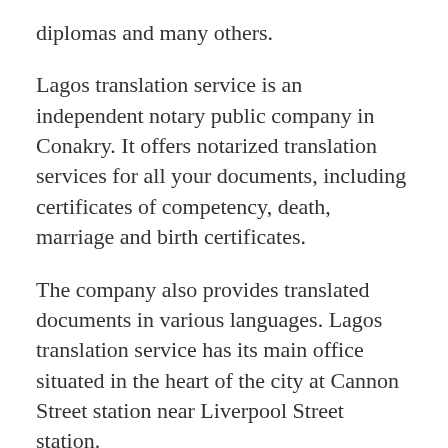diplomas and many others.
Lagos translation service is an independent notary public company in Conakry. It offers notarized translation services for all your documents, including certificates of competency, death, marriage and birth certificates.
The company also provides translated documents in various languages. Lagos translation service has its main office situated in the heart of the city at Cannon Street station near Liverpool Street station.
Lagos translation service is a notarized translation service in Conakry for all your documents. We provide you with notarized translations of your documents to make them as legal as possible.
We use state-of-the-art software and highly skilled translators to provide you with high quality translations.